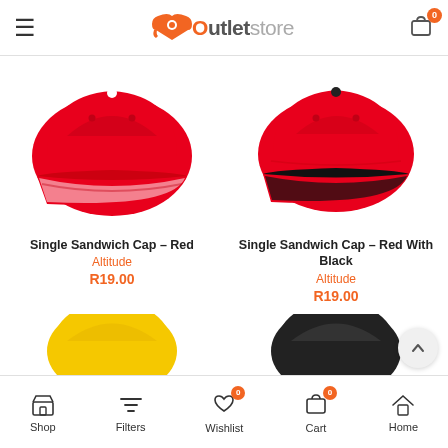OutletStore — navigation header with hamburger menu and cart icon (badge: 0)
[Figure (photo): Red baseball cap (Single Sandwich Cap – Red) on white background]
Single Sandwich Cap – Red
Altitude
R19.00
[Figure (photo): Red baseball cap with black trim (Single Sandwich Cap – Red With Black) on white background]
Single Sandwich Cap – Red With Black
Altitude
R19.00
[Figure (photo): Partial view of yellow cap at bottom left]
[Figure (photo): Partial view of black cap at bottom right]
Shop | Filters | Wishlist (0) | Cart (0) | Home